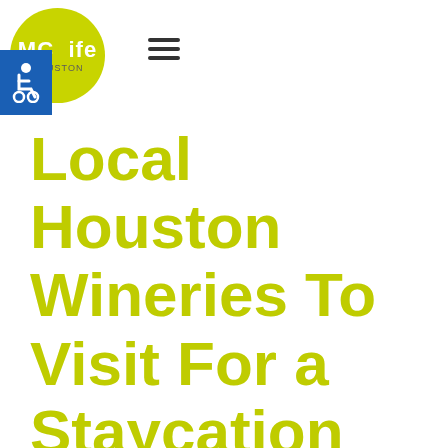MCLife Houston
Local Houston Wineries To Visit For a Staycation